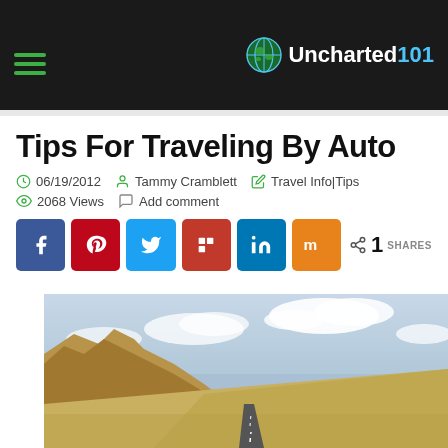Uncharted101
Tips For Traveling By Auto
06/19/2012  Tammy Cramblett  Travel Info|Tips  2068 Views  Add comment
[Figure (infographic): Social share buttons: Facebook (blue), Pinterest (red), Twitter (light blue), Flipboard (dark red), LinkedIn (blue), Mix (orange), share count 1 SHARES]
[Figure (photo): A desert highway road stretching into the distance with arid rocky hills on the left and open sky with clouds above.]